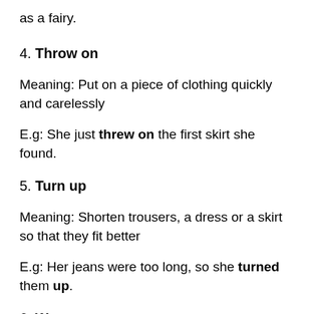as a fairy.
4. Throw on
Meaning: Put on a piece of clothing quickly and carelessly
E.g: She just threw on the first skirt she found.
5. Turn up
Meaning: Shorten trousers, a dress or a skirt so that they fit better
E.g: Her jeans were too long, so she turned them up.
6. Wrap up
Meaning: Put warm clothes on